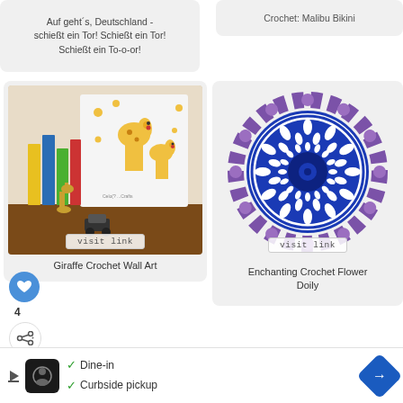Auf geht´s, Deutschland - schießt ein Tor! Schießt ein Tor! Schießt ein To-o-or!
Crochet: Malibu Bikini
[Figure (photo): Photo of giraffe crochet wall art canvas with two cartoon giraffes, books and a toy giraffe figurine, with 'visit link' badge overlay]
Giraffe Crochet Wall Art
[Figure (photo): Photo of blue and purple crocheted flower doily seen from above, with 'visit link' badge overlay]
Enchanting Crochet Flower Doily
WHAT'S NEXT → Elegant Crochet Sca...
[Figure (photo): Partial bottom-left image showing '25' in red text and partial craft/textile image]
[Figure (photo): Partial bottom-right image showing a Barbie doll]
✓ Dine-in
✓ Curbside pickup